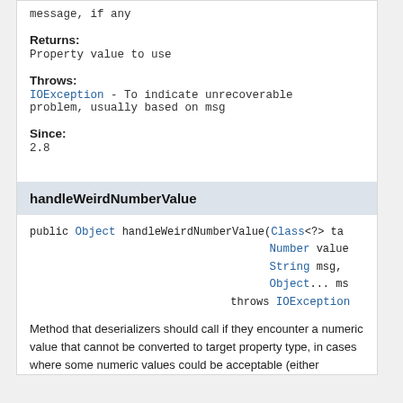message, if any
Returns:
Property value to use
Throws:
IOException - To indicate unrecoverable problem, usually based on msg
Since:
2.8
handleWeirdNumberValue
public Object handleWeirdNumberValue(Class<?> ta
                                     Number value
                                     String msg,
                                     Object... ms
                             throws IOException
Method that deserializers should call if they encounter a numeric value that cannot be converted to target property type, in cases where some numeric values could be acceptable (either